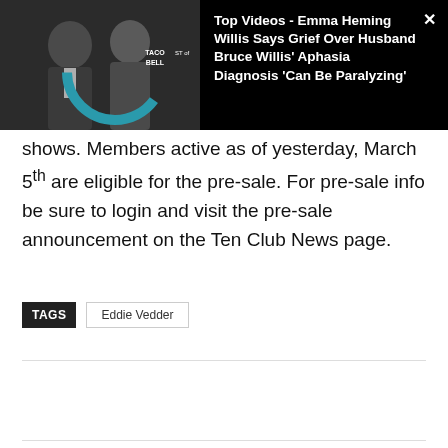[Figure (photo): Video overlay showing a couple (Bruce Willis and Emma Heming Willis) at an event with Taco Bell signage in the background. A teal circular arc design element overlays the image. Black background with white title text.]
shows. Members active as of yesterday, March 5th are eligible for the pre-sale. For pre-sale info be sure to login and visit the pre-sale announcement on the Ten Club News page.
TAGS  Eddie Vedder